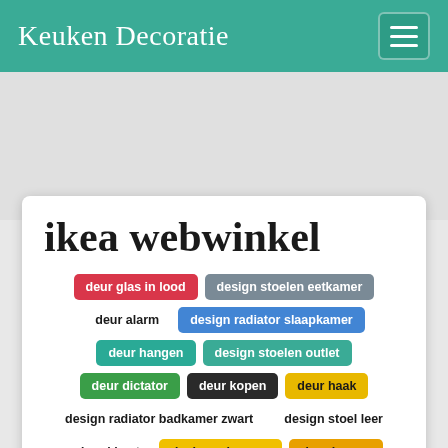Keuken Decoratie
ikea webwinkel
deur glas in lood
design stoelen eetkamer
deur alarm
design radiator slaapkamer
deur hangen
design stoelen outlet
deur dictator
deur kopen
deur haak
design radiator badkamer zwart
design stoel leer
deur klemt
designer lampen
deur horren
design bedden
deur handvat